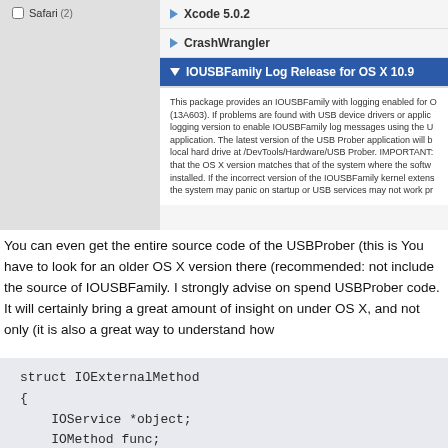[Figure (screenshot): macOS developer tools package list showing Safari (2), Xcode 5.0.2, CrashWrangler, and IOUSBFamily Log Release for OS X 10.9 (selected/expanded with description text)]
You can even get the entire source code of the USBProber (this is You have to look for an older OS X version there (recommended: not include the source of IOUSBFamily. I strongly advise on spend USBProber code. It will certainly bring a great amount of insight on under OS X, and not only (it is also a great way to understand how
struct IOExternalMethod
{
    IOService *object;
    IOMethod func;
    IOOptionBits flags;
    IOByteCount count0;
    ...